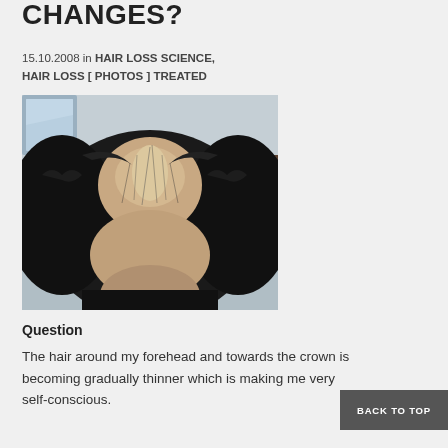CHANGES?
15.10.2008 in HAIR LOSS SCIENCE, HAIR LOSS [ PHOTOS ] TREATED
[Figure (photo): Top-down photo of a person's head showing hair thinning and balding along the crown and forehead area, with dark hair on the sides and visible scalp in the center]
Question
The hair around my forehead and towards the crown is becoming gradually thinner which is making me very self-conscious.